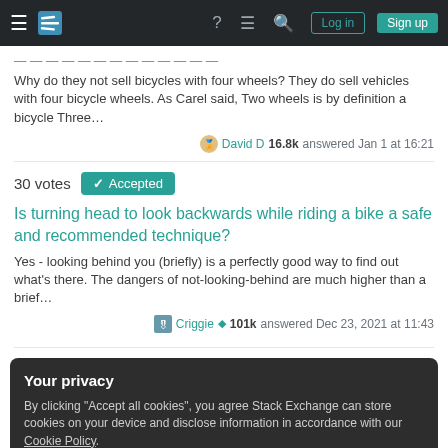Stack Exchange navigation bar with hamburger menu, logo, help, chat, search, Log in, Sign up
Why do they not sell bicycles with four wheels? They do sell vehicles with four bicycle wheels. As Carel said, Two wheels is by definition a bicycle Three…
David D 16.8k answered Jan 1 at 16:21
30 votes  Accepted
Is turning head to look backwards while riding a bike a safe and recommended technique?
Yes - looking behind you (briefly) is a perfectly good way to find out what's there. The dangers of not-looking-behind are much higher than a brief…
Criggie ◆ 101k answered Dec 23, 2021 at 11:43
Your privacy
By clicking "Accept all cookies", you agree Stack Exchange can store cookies on your device and disclose information in accordance with our Cookie Policy.
Accept all cookies    Customize settings
29 votes  Accepted